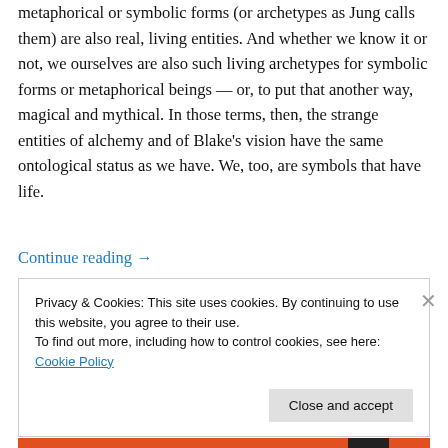metaphorical or symbolic forms (or archetypes as Jung calls them) are also real, living entities. And whether we know it or not, we ourselves are also such living archetypes for symbolic forms or metaphorical beings — or, to put that another way, magical and mythical. In those terms, then, the strange entities of alchemy and of Blake's vision have the same ontological status as we have. We, too, are symbols that have life.
Continue reading →
Privacy & Cookies: This site uses cookies. By continuing to use this website, you agree to their use.
To find out more, including how to control cookies, see here: Cookie Policy
Close and accept